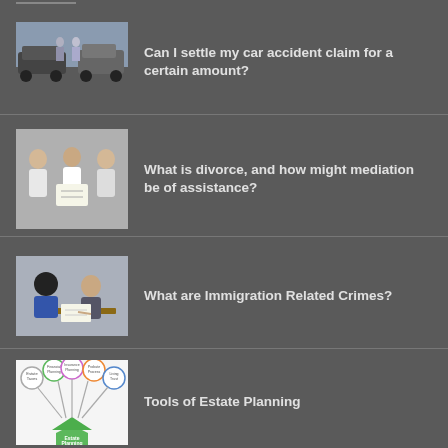[Figure (photo): Two people standing near cars after an accident]
Can I settle my car accident claim for a certain amount?
[Figure (photo): People sitting together in a mediation or discussion session]
What is divorce, and how might mediation be of assistance?
[Figure (photo): A lawyer consulting with a client across a desk]
What are Immigration Related Crimes?
[Figure (infographic): Estate planning diagram with a house icon and branches to various tools]
Tools of Estate Planning